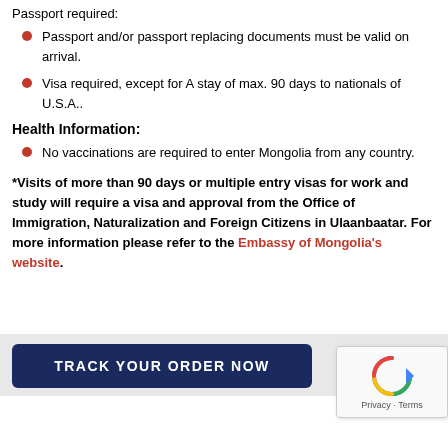Passport required:
Passport and/or passport replacing documents must be valid on arrival.
Visa required, except for A stay of max. 90 days to nationals of U.S.A..
Health Information:
No vaccinations are required to enter Mongolia from any country.
*Visits of more than 90 days or multiple entry visas for work and study will require a visa and approval from the Office of Immigration, Naturalization and Foreign Citizens in Ulaanbaatar. For more information please refer to the Embassy of Mongolia's website.
[Figure (screenshot): Dark blue 'TRACK YOUR ORDER NOW' button on a light grey background, with a reCAPTCHA widget in the bottom right corner]